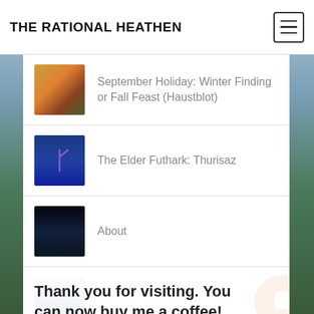THE RATIONAL HEATHEN
September Holiday: Winter Finding or Fall Feast (Haustblot)
The Elder Futhark: Thurisaz
About
Thank you for visiting. You can now buy me a coffee!
The Meaning Behind the Death of